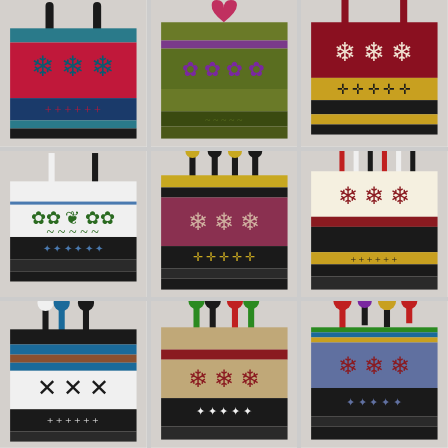[Figure (photo): A 3x3 grid of nine colorful knitted/crocheted bags displayed against a light grey background. Each bag features traditional Nordic or Fair Isle style snowflake and geometric patterns in various color combinations: top row (red/teal/blue, olive/purple/green, dark red/yellow/black), middle row (white/black/green flowers, mauve/black/yellow snowflakes, cream/red/black), bottom row (black/blue/brown/white snowflakes, grey/red/black snowflakes, blue/red/multicolor snowflakes). Most bags have decorative pompom or tassel handles.]